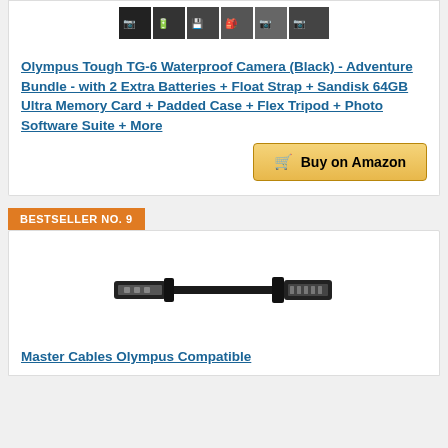[Figure (photo): Product image showing Olympus TG-6 camera bundle with accessories]
Olympus Tough TG-6 Waterproof Camera (Black) - Adventure Bundle - with 2 Extra Batteries + Float Strap + Sandisk 64GB Ultra Memory Card + Padded Case + Flex Tripod + Photo Software Suite + More
Buy on Amazon
BESTSELLER NO. 9
[Figure (photo): USB cable for Olympus cameras - showing standard USB type A connector and mini USB connector]
Master Cables Olympus Compatible